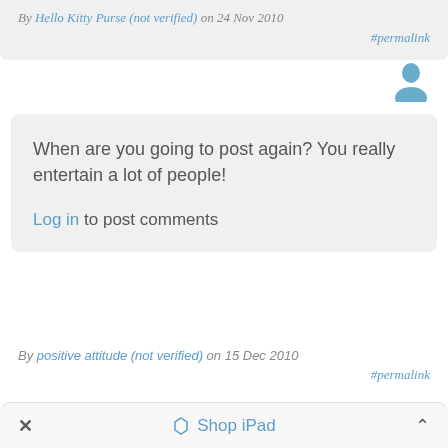By Hello Kitty Purse (not verified) on 24 Nov 2010 #permalink
[Figure (illustration): Generic user avatar icon (blue person silhouette)]
When are you going to post again? You really entertain a lot of people!
Log in to post comments
By positive attitude (not verified) on 15 Dec 2010 #permalink
[Figure (illustration): Generic user avatar icon (blue person silhouette)]
× Shop iPad ^